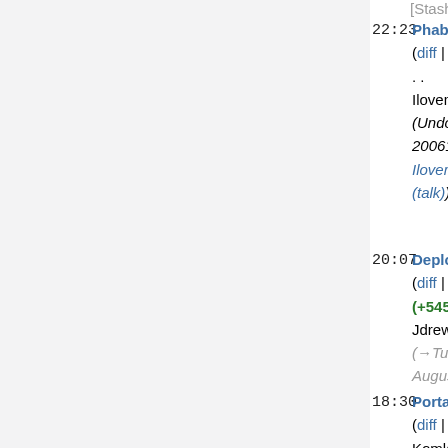[Stashbot (2*)]
22:23 Phabricator (diff | hist) . . (0) . . Ilovemydoodle2 (Undo revision 2006193 by Ilovemydoodle2 (talk))
20:07 Deployments (diff | hist) . . (+545) . . Jdrewniak (→Tuesday, August 23)
18:30 Portal:Toolforge/Ac (diff | hist) . . (0) . . Komla Sapaty (→Creating a new Docker image (e.g. new versions of